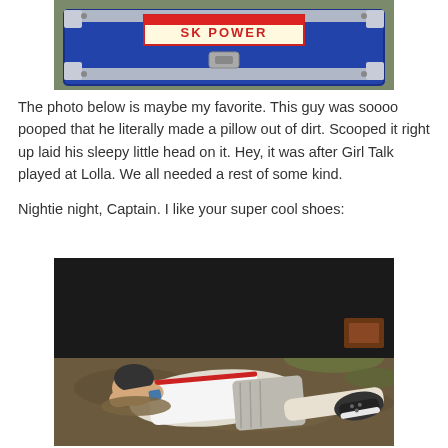[Figure (photo): Top portion of a photo showing a blue equipment case/trunk with a sign reading 'SK POWER' at an outdoor festival]
The photo below is maybe my favorite. This guy was soooo pooped that he literally made a pillow out of dirt. Scooped it right up laid his sleepy little head on it. Hey, it was after Girl Talk played at Lolla. We all needed a rest of some kind.
Nightie night, Captain. I like your super cool shoes:
[Figure (photo): A young man lying asleep on the dirt ground at a festival, wearing a white t-shirt with red trim, grey striped shorts, and dark sneakers with white soles, with his head resting on a dirt mound]